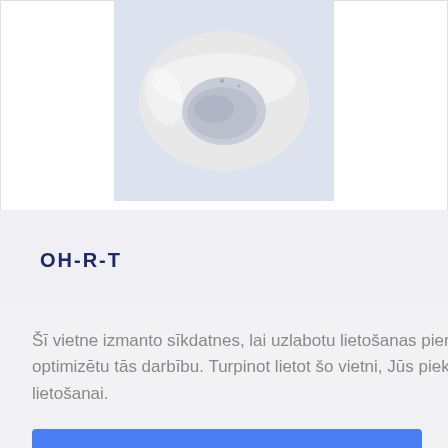[Figure (photo): White ceramic or plastic ring/grommet product viewed from above, shown on a light blue-grey background]
OH-R-T
Šī vietne izmanto sīkdatnes, lai uzlabotu lietošanas pieredzi un optimizētu tās darbību. Turpinot lietot šo vietni, Jūs piekrītiet sīkdatņu lietošanai.
Piekrītu